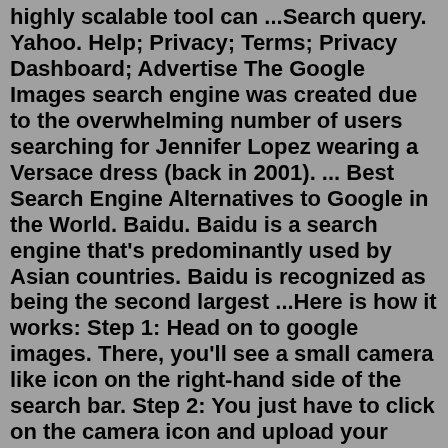highly scalable tool can ...Search query. Yahoo. Help; Privacy; Terms; Privacy Dashboard; Advertise The Google Images search engine was created due to the overwhelming number of users searching for Jennifer Lopez wearing a Versace dress (back in 2001). ... Best Search Engine Alternatives to Google in the World. Baidu. Baidu is a search engine that's predominantly used by Asian countries. Baidu is recognized as being the second largest ...Here is how it works: Step 1: Head on to google images. There, you'll see a small camera like icon on the right-hand side of the search bar. Step 2: You just have to click on the camera icon and upload your desired photo that you wish to check for image plagiarism. The search engine works on a computer technology called " query based image ...Find your image on Google or Tineye. Most people probably know that you can perform a simple reverse image search on sites like Google and Tineye —two of the top places most people recommend if ...With Reverse Photos, you can perform reverse image searches on Android and iPhone in few easy steps.